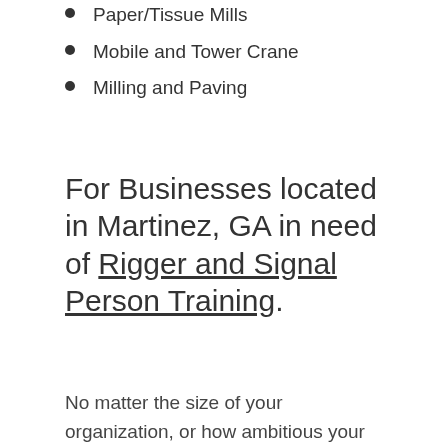Paper/Tissue Mills
Mobile and Tower Crane
Milling and Paving
For Businesses located in Martinez, GA in need of Rigger and Signal Person Training.
No matter the size of your organization, or how ambitious your safety goals, Bermac can deliver the safety services your company